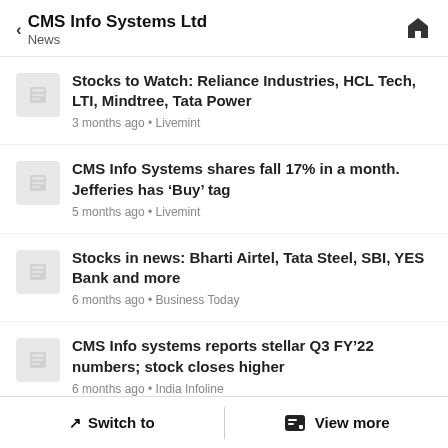CMS Info Systems Ltd
News
Stocks to Watch: Reliance Industries, HCL Tech, LTI, Mindtree, Tata Power
3 months ago • Livemint
CMS Info Systems shares fall 17% in a month. Jefferies has ‘Buy’ tag
5 months ago • Livemint
Stocks in news: Bharti Airtel, Tata Steel, SBI, YES Bank and more
6 months ago • Business Today
CMS Info systems reports stellar Q3 FY’22 numbers; stock closes higher
6 months ago • India Infoline
Switch to   View more